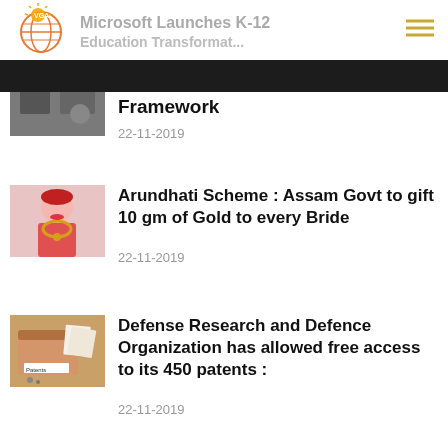VGA (logo) — navigation header with hamburger menu
Microsoft Launches K-12 Education Transformation Framework
22-11-2019
Arundhati Scheme : Assam Govt to gift 10 gm of Gold to every Bride
22-11-2019
Defense Research and Defence Organization has allowed free access to its 450 patents :
22-11-2019